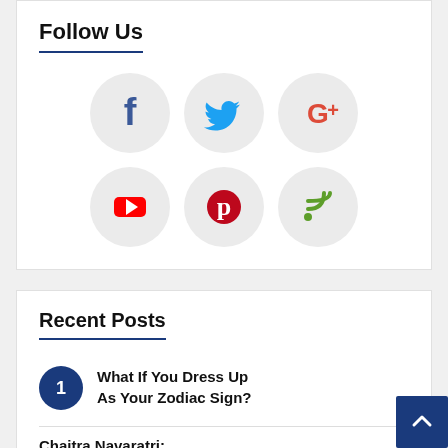Follow Us
[Figure (infographic): Six social media icons arranged in a 3x2 grid: Facebook (dark blue f), Twitter (light blue bird), Google+ (red/orange G+), YouTube (red play button), Pinterest (red P), RSS feed (green signal icon). Each icon is on a light grey circle background.]
Recent Posts
1 What If You Dress Up As Your Zodiac Sign?
Chaitra Navaratri: